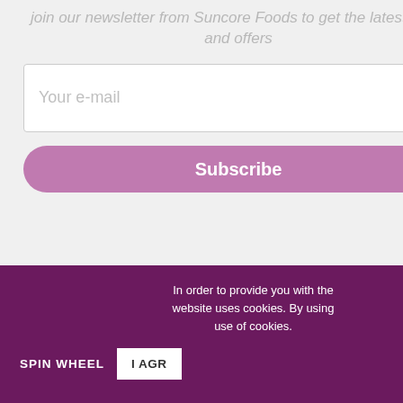join our newsletter from Suncore Foods to get the latest news and offers
Your e-mail
Subscribe
Just fo
Take 10% off your first order w worry, we only send yo
Enter your email addres
Sign u
In order to provide you with the website uses cookies. By using use of cookies.
I AGR
SPIN WHEEL